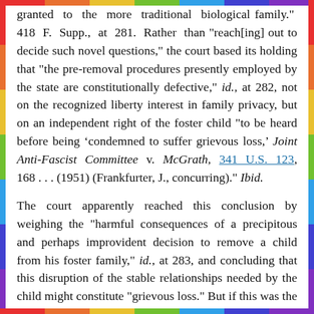granted to the more traditional biological family." 418 F. Supp., at 281. Rather than "reach[ing] out to decide such novel questions," the court based its holding that "the pre-removal procedures presently employed by the state are constitutionally defective," id., at 282, not on the recognized liberty interest in family privacy, but on an independent right of the foster child "to be heard before being 'condemned to suffer grievous loss,' Joint Anti-Fascist Committee v. McGrath, 341 U.S. 123, 168 . . . (1951) (Frankfurter, J., concurring)." Ibid.
The court apparently reached this conclusion by weighing the "harmful consequences of a precipitous and perhaps improvident decision to remove a child from his foster family," id., at 283, and concluding that this disruption of the stable relationships needed by the child might constitute "grievous loss." But if this was the reasoning applied by the District Court, it must be